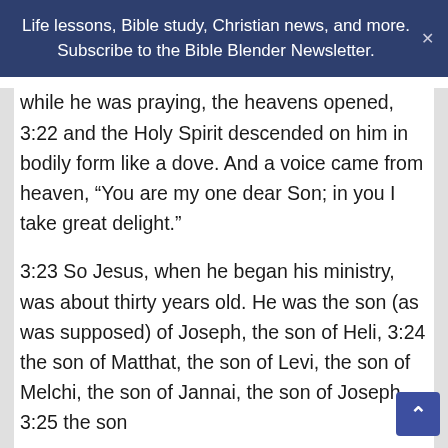Life lessons, Bible study, Christian news, and more. Subscribe to the Bible Blender Newsletter.
while he was praying, the heavens opened, 3:22 and the Holy Spirit descended on him in bodily form like a dove. And a voice came from heaven, “You are my one dear Son; in you I take great delight.”
3:23 So Jesus, when he began his ministry, was about thirty years old. He was the son (as was supposed) of Joseph, the son of Heli, 3:24 the son of Matthat, the son of Levi, the son of Melchi, the son of Jannai, the son of Joseph, 3:25 the son